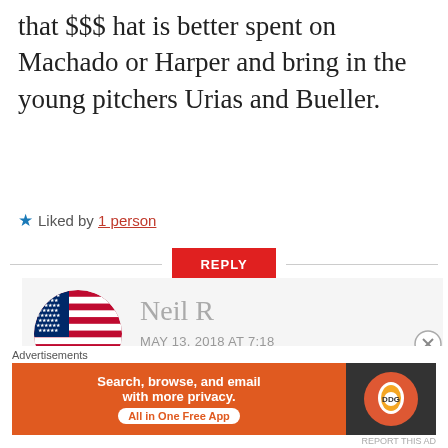that $$$ hat is better spent on Machado or Harper and bring in the young pitchers Urias and Bueller.
★ Liked by 1 person
REPLY
[Figure (photo): Circular avatar showing an American flag]
Neil R
MAY 13, 2018 AT 7:18 AM
I'm glad that you agree especially being a lifelong fan. He actually
[Figure (advertisement): DuckDuckGo advertisement banner: Search, browse, and email with more privacy. All in One Free App]
Advertisements